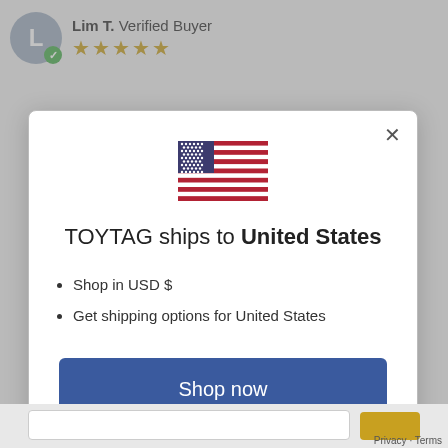Lim T. Verified Buyer
[Figure (screenshot): US flag emoji/illustration]
TOYTAG ships to United States
Shop in USD $
Get shipping options for United States
Shop now
Change shipping country
Privacy · Terms